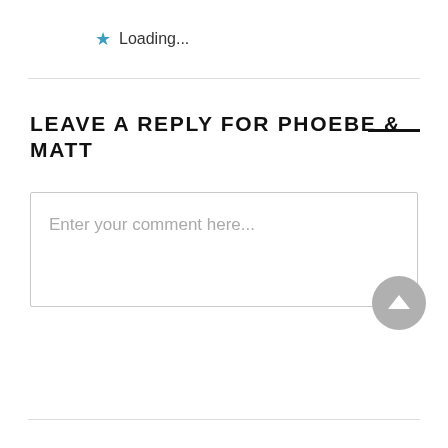★ Loading...
LEAVE A REPLY FOR PHOEBE & MATT
Enter your comment here...